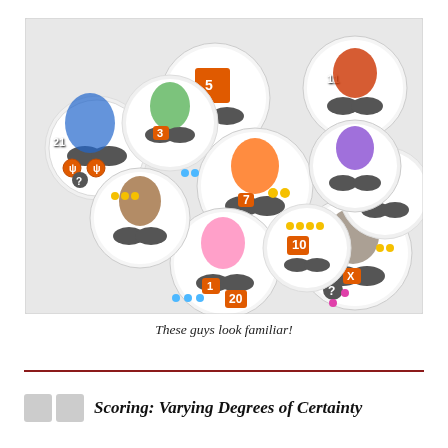[Figure (photo): Overhead photo showing a large pile of overlapping circular game tokens/tiles featuring colorful monster/creature artwork with various icons, numbers (1, 3, 5, 7, 8, 10, 11, 20, 21, etc.), symbols (question marks, tridents, arrows), and colored dots on white circular discs scattered across a white surface.]
These guys look familiar!
Scoring: Varying Degrees of Certainty